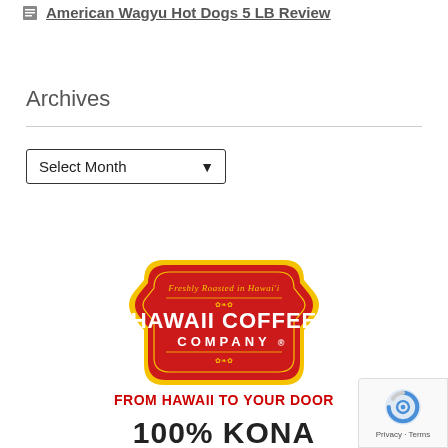American Wagyu Hot Dogs 5 LB Review
Archives
Select Month
[Figure (logo): Hawaii Coffee Company logo — red and gold badge shape with text 'Freshly Roasted in Hawaii' at top in italic gold script, large white text 'HAWAII COFFEE COMPANY®' in center on red background, decorative gold border and ornaments]
FROM HAWAII TO YOUR DOOR
100% KONA